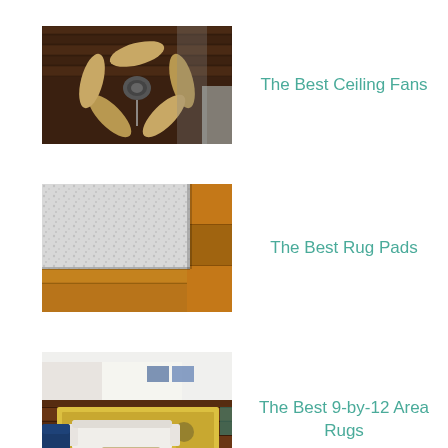[Figure (photo): Photo of a ceiling fan with wooden blades mounted on a wooden ceiling in a rustic room]
The Best Ceiling Fans
[Figure (photo): Photo of a gray rug pad on a hardwood floor with wooden paneling visible]
The Best Rug Pads
[Figure (photo): Photo of a living room interior with a yellow patterned area rug, white sofa, dark hardwood floors, and navy blue chairs]
The Best 9-by-12 Area Rugs